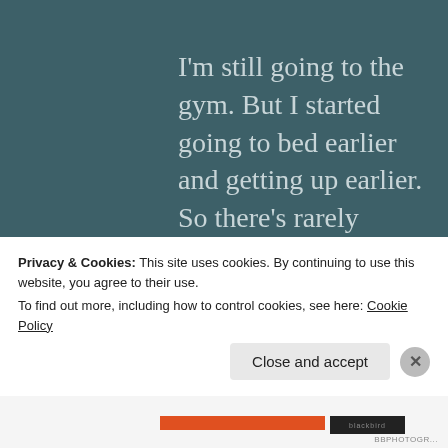I'm still going to the gym. But I started going to bed earlier and getting up earlier. So there's rarely anybody else in there when I go. I had it all to
Privacy & Cookies: This site uses cookies. By continuing to use this website, you agree to their use.
To find out more, including how to control cookies, see here: Cookie Policy
Close and accept